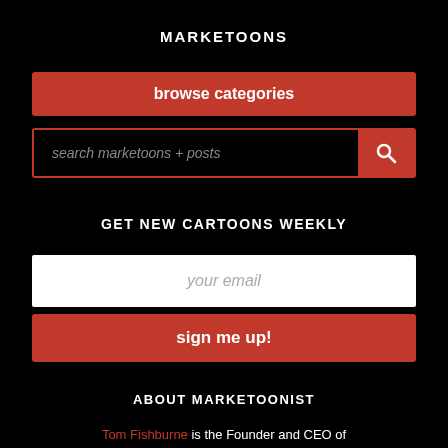MARKETOONS
browse categories
search marketoons + posts
GET NEW CARTOONS WEEKLY
your email
sign me up!
ABOUT MARKETOONIST
Tom Fishburne is the Founder and CEO of